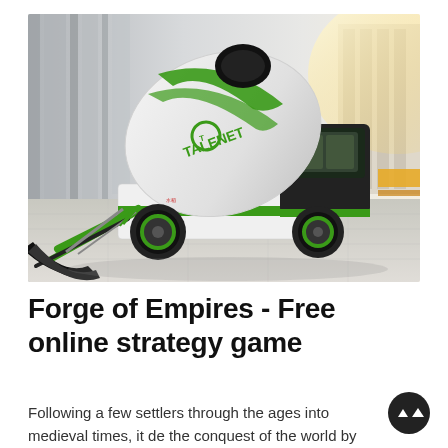[Figure (photo): A green and white self-loading concrete mixer truck (branded TALENET) photographed against a modern architectural background. The truck has a large rotating drum on top, a front-loading bucket/scoop, and green-rimmed wheels.]
Forge of Empires - Free online strategy game
Following a few settlers through the ages into medieval times, it de the conquest of the world by your thriving realm. Whether you play the